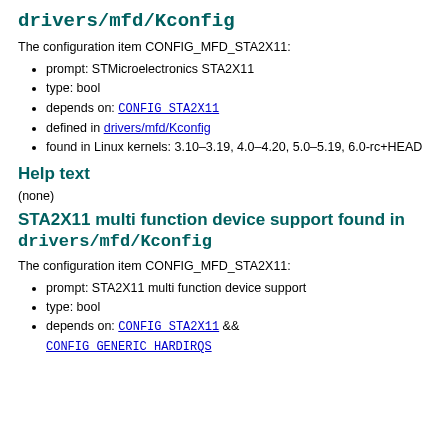drivers/mfd/Kconfig
The configuration item CONFIG_MFD_STA2X11:
prompt: STMicroelectronics STA2X11
type: bool
depends on: CONFIG_STA2X11
defined in drivers/mfd/Kconfig
found in Linux kernels: 3.10–3.19, 4.0–4.20, 5.0–5.19, 6.0-rc+HEAD
Help text
(none)
STA2X11 multi function device support found in drivers/mfd/Kconfig
The configuration item CONFIG_MFD_STA2X11:
prompt: STA2X11 multi function device support
type: bool
depends on: CONFIG_STA2X11 && CONFIG_GENERIC_HARDIRQS